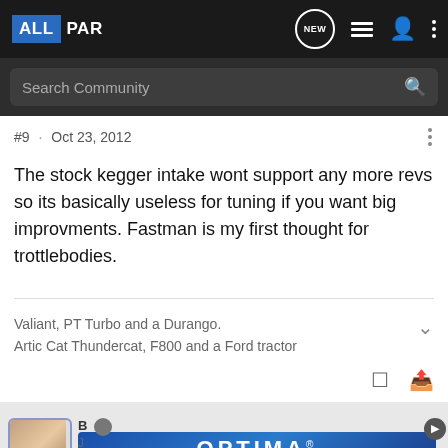ALLPAR — Search Community
#9 · Oct 23, 2012
The stock kegger intake wont support any more revs so its basically useless for tuning if you want big improvments. Fastman is my first thought for trottlebodies.
Valiant, PT Turbo and a Durango.
Artic Cat Thundercat, F800 and a Ford tractor
[Figure (screenshot): Optima Batteries advertisement banner at bottom of page]